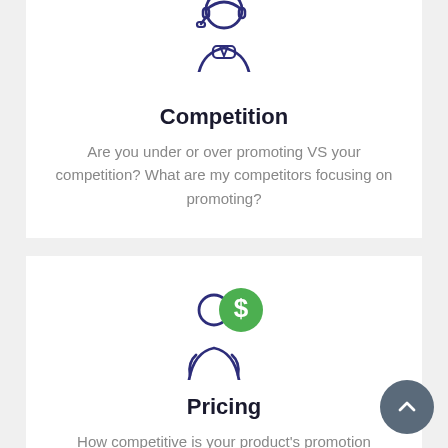[Figure (illustration): Line art icon of a customer service / call center person with headset, in dark navy blue, shown from waist up, cropped at top]
Competition
Are you under or over promoting VS your competition? What are my competitors focusing on promoting?
[Figure (illustration): Line art icon of a person (dark navy blue outline) with a green dollar-sign coin overlapping the head/face area]
Pricing
How competitive is your product's promotion